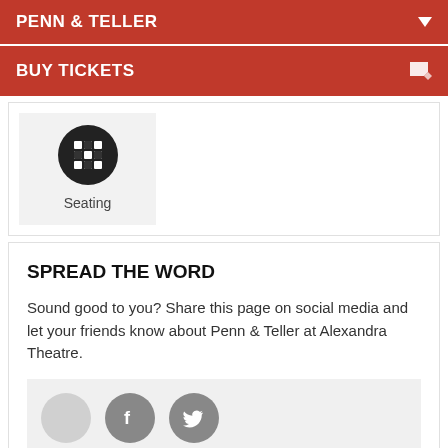PENN & TELLER
BUY TICKETS
[Figure (illustration): Seating icon in a dark circle with a grid/seat pattern, labeled 'Seating' below]
SPREAD THE WORD
Sound good to you? Share this page on social media and let your friends know about Penn & Teller at Alexandra Theatre.
[Figure (illustration): Social sharing icons: a light grey circle, Facebook icon circle (grey), Twitter bird icon circle (grey)]
You know the drill, websites need cookies to make them work. Details of how we do it here.
Got it!